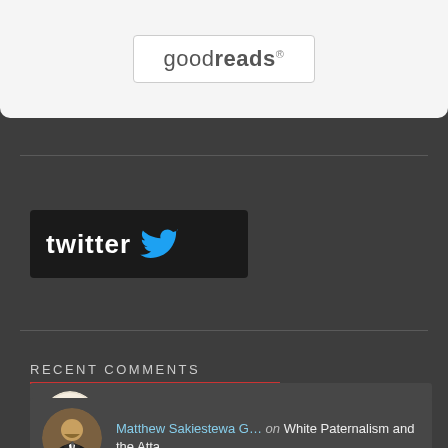[Figure (logo): Goodreads logo in a rounded rectangle widget box]
[Figure (logo): Twitter logo widget with bird icon on dark background]
RECENT COMMENTS
Matthew Sakiestewa G… on White Paternalism and the Atta…
Omar on White Paternalism and the Atta…